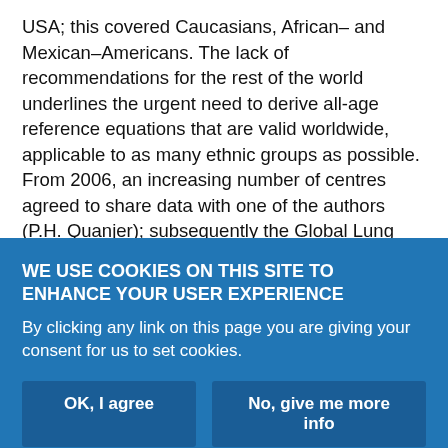USA; this covered Caucasians, African– and Mexican–Americans. The lack of recommendations for the rest of the world underlines the urgent need to derive all-age reference equations that are valid worldwide, applicable to as many ethnic groups as possible. From 2006, an increasing number of centres agreed to share data with one of the authors (P.H. Quanjer); subsequently the Global Lung Function Initiative (GLI) was established in Berlin in September 2008, acquiring ERS Task Force status in April 2010. The GLI was subsequently endorsed by the ATS, Australian and New Zealand Society of Respiratory Science (ANZSRS), Asian Pacific Society for Respirology (APSR), the Thoracic Society of Australia and New
WE USE COOKIES ON THIS SITE TO ENHANCE YOUR USER EXPERIENCE
By clicking any link on this page you are giving your consent for us to set cookies.
OK, I agree | No, give me more info